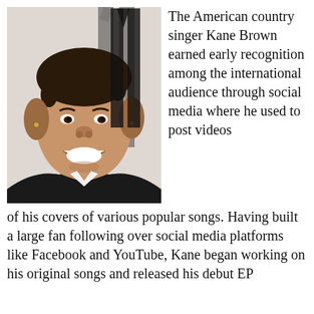[Figure (photo): Photo of American country singer Kane Brown smiling, wearing a black jacket and white shirt, at what appears to be a red carpet or media event with a light background and large black letters visible.]
The American country singer Kane Brown earned early recognition among the international audience through social media where he used to post videos of his covers of various popular songs. Having built a large fan following over social media platforms like Facebook and YouTube, Kane began working on his original songs and released his debut EP